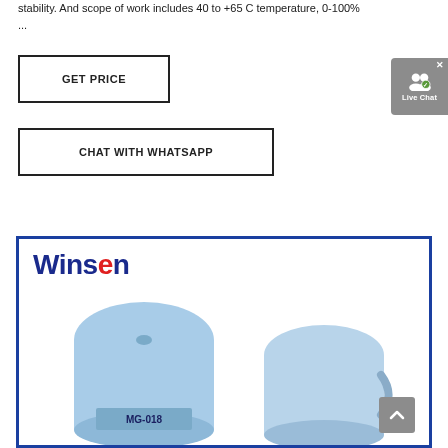stability. And scope of work includes 40 to +65 C temperature, 0-100% ...
[Figure (other): GET PRICE button with rectangular border]
[Figure (other): Live Chat widget with user icon and checkmark badge]
[Figure (other): CHAT WITH WHATSAPP button with rectangular border]
[Figure (photo): Winsen branded product image showing blue sensor modules (MG-018 type) inside a blue bordered frame with Winsen logo at top left]